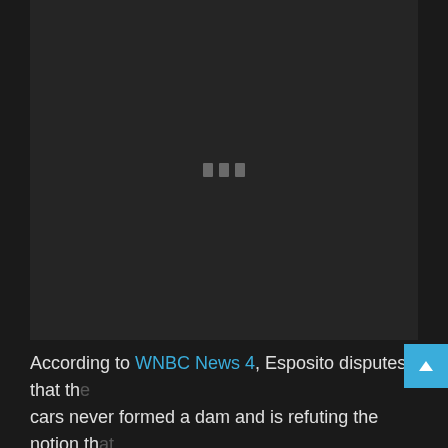[Figure (screenshot): Dark video player placeholder with three small grey loading indicator bars centered in the frame]
According to WNBC News 4, Esposito disputes that the cars never formed a dam and is refuting the notion that his cars were too close to the river. He stated that most of his lot and dealership was overtaken from the